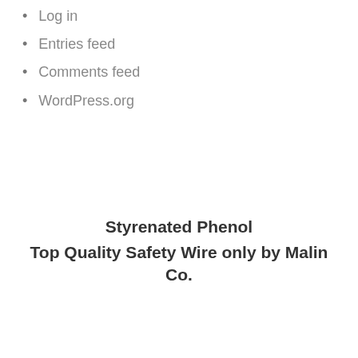Log in
Entries feed
Comments feed
WordPress.org
Styrenated Phenol
Top Quality Safety Wire only by Malin Co.